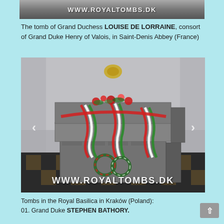[Figure (photo): Top strip of a photo showing a tomb with watermark text WWW.ROYALTOMBS.DK]
The tomb of Grand Duchess LOUISE DE LORRAINE, consort of Grand Duke Henry of Valois, in Saint-Denis Abbey (France)
[Figure (photo): Photo of a stone tomb decorated with red, white and green ribbons and floral wreaths, located in the Royal Basilica in Kraków, Poland. Watermark reads WWW.ROYALTOMBS.DK]
Tombs in the Royal Basilica in Kraków (Poland):
01. Grand Duke STEPHEN BATHORY.